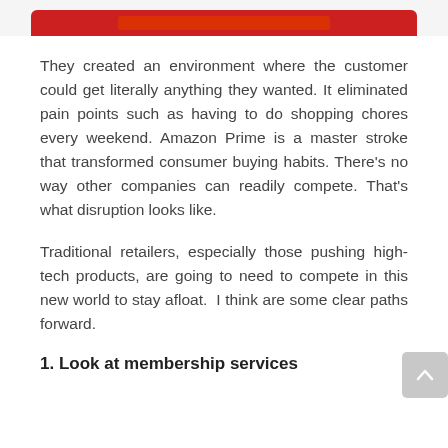[Figure (screenshot): Top portion of a mobile app or website screenshot showing a red bar/button element at the top of the page]
They created an environment where the customer could get literally anything they wanted. It eliminated pain points such as having to do shopping chores every weekend. Amazon Prime is a master stroke that transformed consumer buying habits. There's no way other companies can readily compete. That's what disruption looks like.
Traditional retailers, especially those pushing high-tech products, are going to need to compete in this new world to stay afloat.  I think are some clear paths forward.
1. Look at membership services